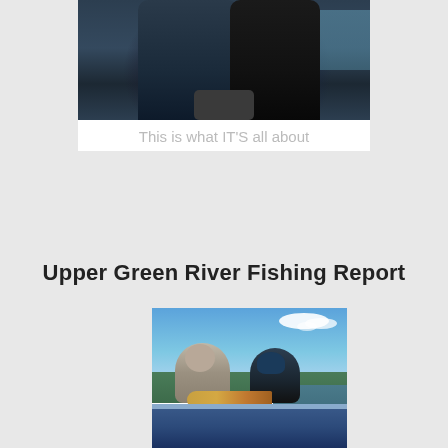[Figure (photo): Two people in dark jackets holding a fish, close-up photo cropped at top]
This is what IT'S all about
Upper Green River Fishing Report
[Figure (photo): Two people on a boat on the Upper Green River holding a large fish, with blue sky, clouds, and green marsh in the background]